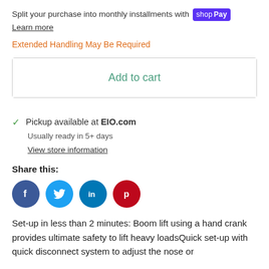Split your purchase into monthly installments with Shop Pay
Learn more
Extended Handling May Be Required
Add to cart
Pickup available at EIO.com
Usually ready in 5+ days
View store information
Share this:
[Figure (illustration): Social media sharing icons: Facebook (blue circle with f), Twitter (light blue circle with bird), LinkedIn (blue circle with in), Pinterest (dark red circle with P)]
Set-up in less than 2 minutes: Boom lift using a hand crank provides ultimate safety to lift heavy loadsQuick set-up with quick disconnect system to adjust the nose or